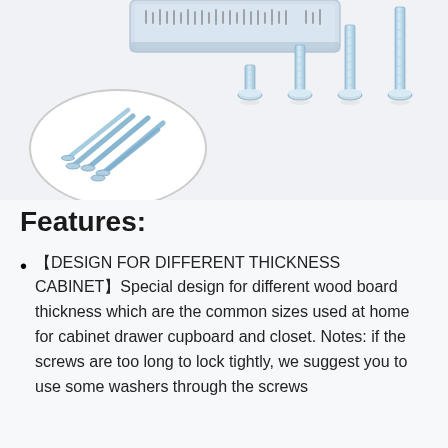[Figure (photo): Product image showing a plastic organizer box filled with screws at top, an oval inset showing a close-up pile of screws at lower left, and four individual screws of increasing length arranged side by side at center-right, all silver/zinc-plated bolts with round heads.]
Features:
【DESIGN FOR DIFFERENT THICKNESS CABINET】Special design for different wood board thickness which are the common sizes used at home for cabinet drawer cupboard and closet. Notes: if the screws are too long to lock tightly, we suggest you to use some washers through the screws